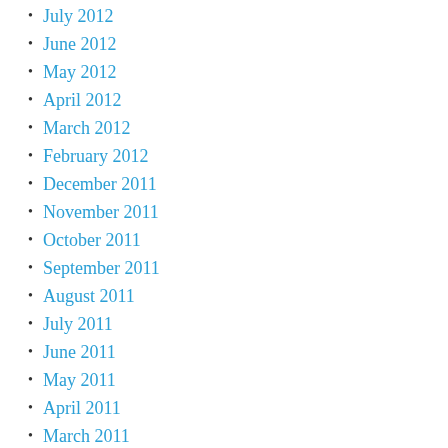July 2012
June 2012
May 2012
April 2012
March 2012
February 2012
December 2011
November 2011
October 2011
September 2011
August 2011
July 2011
June 2011
May 2011
April 2011
March 2011
February 2011